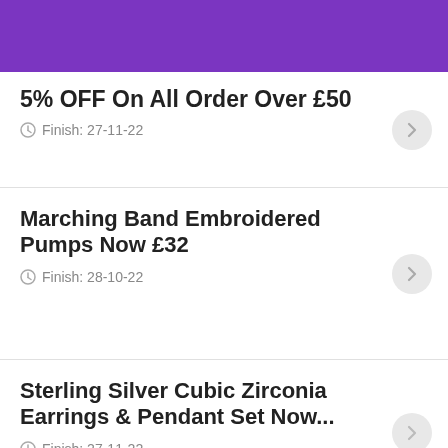[Figure (other): Purple header banner background]
5% OFF On All Order Over £50
Finish: 27-11-22
Marching Band Embroidered Pumps Now £32
Finish: 28-10-22
Sterling Silver Cubic Zirconia Earrings & Pendant Set Now...
Finish: 27-11-22